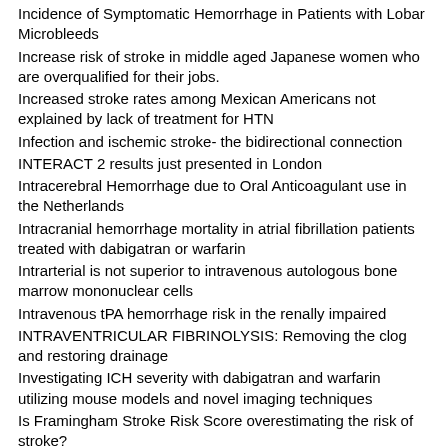Incidence of Symptomatic Hemorrhage in Patients with Lobar Microbleeds
Increase risk of stroke in middle aged Japanese women who are overqualified for their jobs.
Increased stroke rates among Mexican Americans not explained by lack of treatment for HTN
Infection and ischemic stroke- the bidirectional connection
INTERACT 2 results just presented in London
Intracerebral Hemorrhage due to Oral Anticoagulant use in the Netherlands
Intracranial hemorrhage mortality in atrial fibrillation patients treated with dabigatran or warfarin
Intrarterial is not superior to intravenous autologous bone marrow mononuclear cells
Intravenous tPA hemorrhage risk in the renally impaired
INTRAVENTRICULAR FIBRINOLYSIS: Removing the clog and restoring drainage
Investigating ICH severity with dabigatran and warfarin utilizing mouse models and novel imaging techniques
Is Framingham Stroke Risk Score overestimating the risk of stroke?
Is the Group Judgment Better than an Individuals Assessment of Stroke Functional Outcome?
Is There an Association between INR Levels, NIH Stroke Scale at Stroke Onset, And Functional Outcome at Discharge?